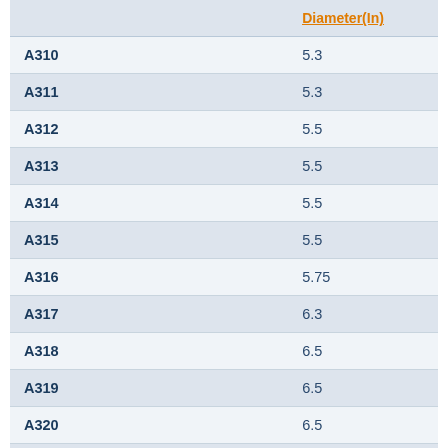|  | Diameter(In) |
| --- | --- |
| A310 | 5.3 |
| A311 | 5.3 |
| A312 | 5.5 |
| A313 | 5.5 |
| A314 | 5.5 |
| A315 | 5.5 |
| A316 | 5.75 |
| A317 | 6.3 |
| A318 | 6.5 |
| A319 | 6.5 |
| A320 | 6.5 |
| A322 | 6.5 |
| A324 | 6.75 |